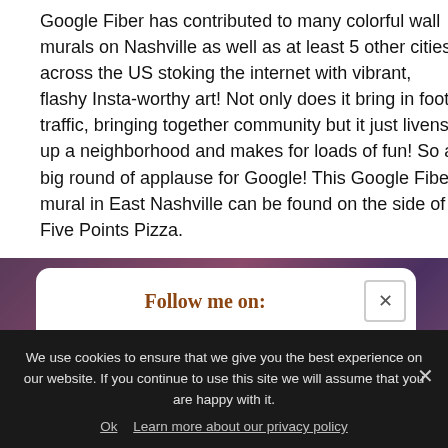Google Fiber has contributed to many colorful wall murals on Nashville as well as at least 5 other cities across the US stoking the internet with vibrant, flashy Insta-worthy art! Not only does it bring in foot traffic, bringing together community but it just livens up a neighborhood and makes for loads of fun! So a big round of applause for Google! This Google Fiber mural in East Nashville can be found on the side of Five Points Pizza.
[Figure (screenshot): A social media follow widget popup with 'Follow me on:' in handwritten brown font, showing Facebook, Instagram, Pinterest, Twitter, Bloglovin, and RSS feed icons in pink circles, with a close (x) button, and partially visible 'Or sign up to my newsletter' text below, overlaid on a purple/pink blurred background photo.]
We use cookies to ensure that we give you the best experience on our website. If you continue to use this site we will assume that you are happy with it.
Ok   Learn more about our privacy policy